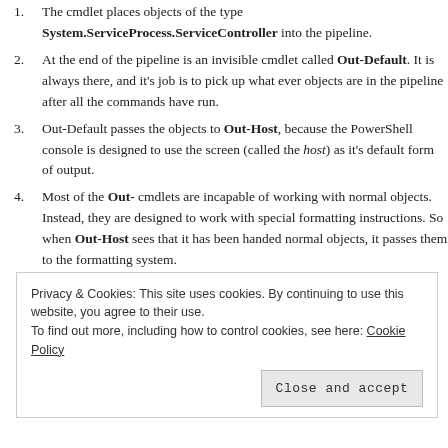The cmdlet places objects of the type System.ServiceProcess.ServiceController into the pipeline.
At the end of the pipeline is an invisible cmdlet called Out-Default. It is always there, and it's job is to pick up what ever objects are in the pipeline after all the commands have run.
Out-Default passes the objects to Out-Host, because the PowerShell console is designed to use the screen (called the host) as it's default form of output.
Most of the Out- cmdlets are incapable of working with normal objects. Instead, they are designed to work with special formatting instructions. So when Out-Host sees that it has been handed normal objects, it passes them to the formatting system.
Privacy & Cookies: This site uses cookies. By continuing to use this website, you agree to their use. To find out more, including how to control cookies, see here: Cookie Policy
Close and accept